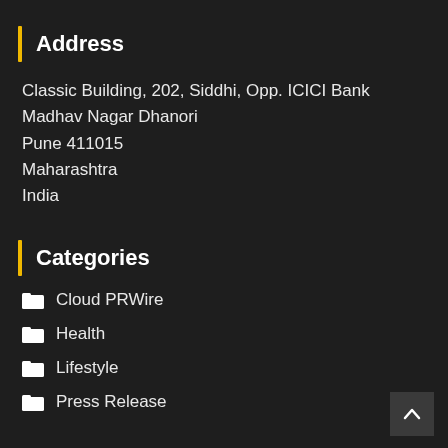Address
Classic Building, 202, Siddhi, Opp. ICICI Bank
Madhav Nagar Dhanori
Pune 411015
Maharashtra
India
Categories
Cloud PRWire
Health
Lifestyle
Press Release